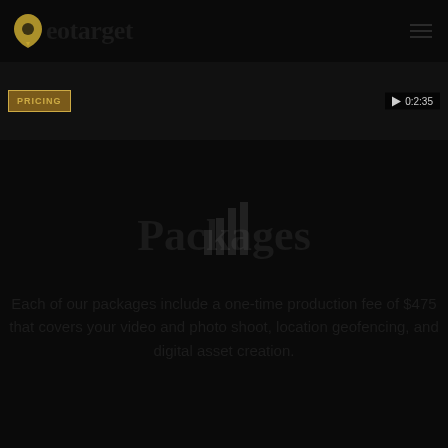Geotarget
[Figure (screenshot): Video banner with PRICING badge on left and play button with 0:2:35 timer on right, dark background]
Packages
Each of our packages include a one-time production fee of $475 that covers your video and photo shoot, location geofencing, and digital asset creation.